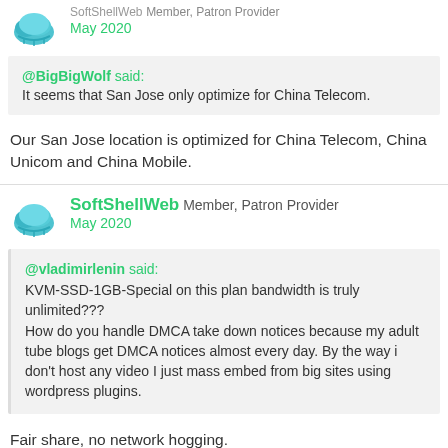[Figure (logo): Blue cloud/network icon avatar]
SoftShellWeb Member, Patron Provider
May 2020
@BigBigWolf said:
It seems that San Jose only optimize for China Telecom.
Our San Jose location is optimized for China Telecom, China Unicom and China Mobile.
[Figure (logo): Blue cloud/network icon avatar]
SoftShellWeb Member, Patron Provider
May 2020
@vladimirlenin said:
KVM-SSD-1GB-Special on this plan bandwidth is truly unlimited???
How do you handle DMCA take down notices because my adult tube blogs get DMCA notices almost every day. By the way i don't host any video I just mass embed from big sites using wordpress plugins.
Fair share, no network hogging.
The DMCA take down notices would be an issue.